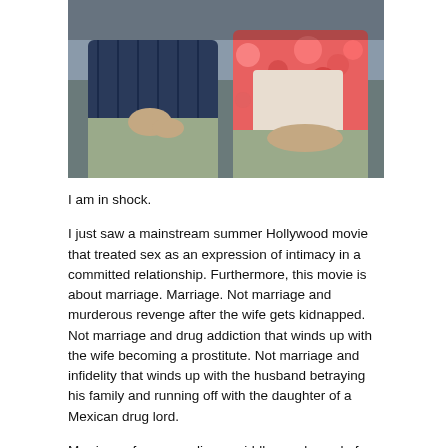[Figure (photo): Two people sitting on a couch side by side. The person on the left is a man in a dark navy striped polo shirt and khaki pants, holding something in his hands. The person on the right is a woman in a red floral blouse and khaki pants. Both figures are cropped at the neck, showing only their torsos and hands.]
I am in shock.
I just saw a mainstream summer Hollywood movie that treated sex as an expression of intimacy in a committed relationship. Furthermore, this movie is about marriage. Marriage. Not marriage and murderous revenge after the wife gets kidnapped. Not marriage and drug addiction that winds up with the wife becoming a prostitute. Not marriage and infidelity that winds up with the husband betraying his family and running off with the daughter of a Mexican drug lord.
Marriage of a very ordinary middle-aged couple from